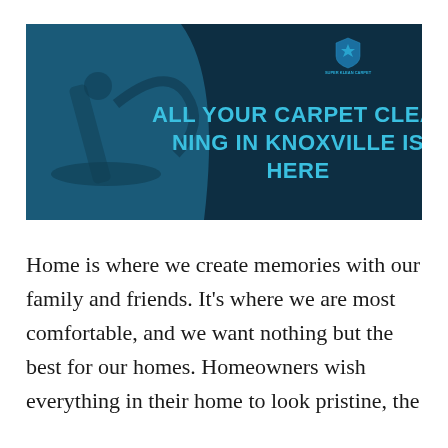[Figure (illustration): Banner image for a carpet cleaning company in Knoxville. Left side shows a vacuum cleaner on carpet with a blue tinted photo overlay. Right side has a dark teal curved panel with bold light-blue text reading 'ALL YOUR CARPET CLEANING IN KNOXVILLE IS HERE'. A company logo appears in the upper right corner.]
Home is where we create memories with our family and friends. It's where we are most comfortable, and we want nothing but the best for our homes. Homeowners wish everything in their home to look pristine, the